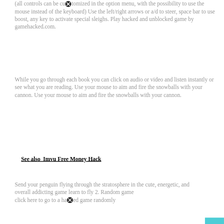(all controls can be customized in the option menu, with the possibility to use the mouse instead of the keyboard) Use the left/right arrows or a/d to steer, space bar to use boost, any key to activate special sleighs. Play hacked and unblocked game by gamehacked.com.
While you go through each book you can click on audio or video and listen instantly or see what you are reading. Use your mouse to aim and fire the snowballs with your cannon. Use your mouse to aim and fire the snowballs with your cannon.
See also  Imvu Free Money Hack
Send your penguin flying through the stratosphere in the cute, energetic, and overall addicting game learn to fly 2. Random games click here to go to a hacked game randomly